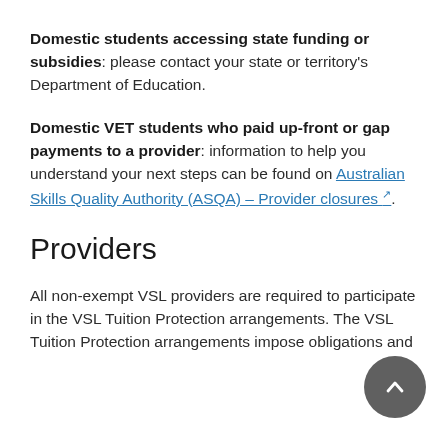Domestic students accessing state funding or subsidies: please contact your state or territory's Department of Education.
Domestic VET students who paid up-front or gap payments to a provider: information to help you understand your next steps can be found on Australian Skills Quality Authority (ASQA) – Provider closures.
Providers
All non-exempt VSL providers are required to participate in the VSL Tuition Protection arrangements. The VSL Tuition Protection arrangements impose obligations and